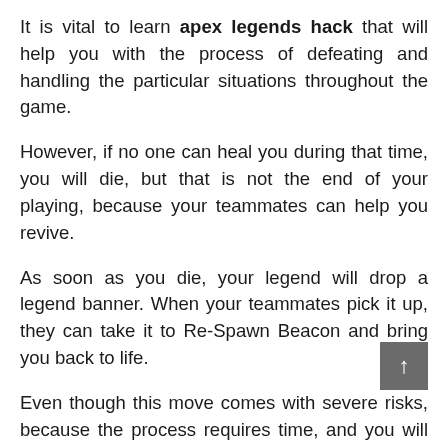It is vital to learn apex legends hack that will help you with the process of defeating and handling the particular situations throughout the game.
However, if no one can heal you during that time, you will die, but that is not the end of your playing, because your teammates can help you revive.
As soon as you die, your legend will drop a legend banner. When your teammates pick it up, they can take it to Re-Spawn Beacon and bring you back to life.
Even though this move comes with severe risks, because the process requires time, and you will return without armor or weapons.
However, doing it successfully will give you a chance to avoid defeat and to win in the long run.